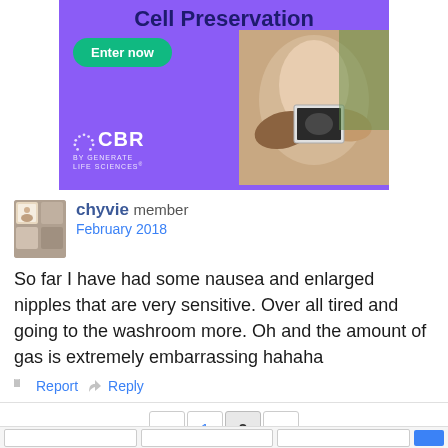[Figure (photo): Advertisement banner for CBR (by Generate Life Sciences) - Cell Preservation. Purple background with 'Enter now' green button and photo of pregnant woman holding ultrasound image.]
chyvie member
February 2018
So far I have had some nausea and enlarged nipples that are very sensitive. Over all tired and going to the washroom more. Oh and the amount of gas is extremely embarrassing hahaha
Report  Reply